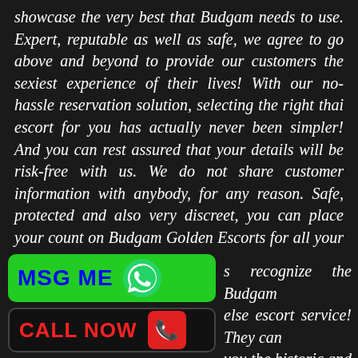showcase the very best that Budgam needs to use. Expert, reputable as well as safe, we agree to go above and beyond to provide our customers the sexiest experience of their lives! With our no-hassle reservation solution, selecting the right thai escort for you has actually never been simpler! And you can rest assured that your details will be risk-free with us. We do not share customer information with anybody, for any reason. Safe, protected and also very discreet, you can place your count on Budgam Golden Escorts for all your escort solution needs!
[Figure (other): Green MSG ME button with WhatsApp icon]
[Figure (other): Black CALL NOW button with red phone icon]
s recognize the Budgam else escort service! They can you the historic and also udgam that you will not see